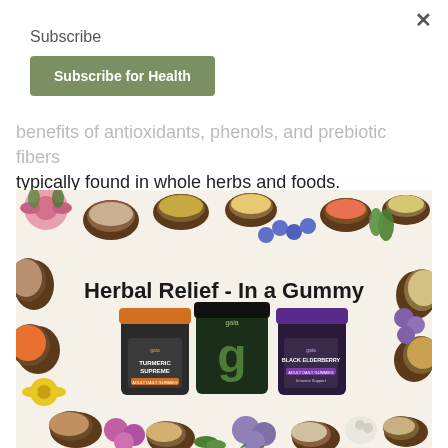×
Subscribe
Subscribe for Health
benefits of antioxidants, phenols, and prebiotic fibers typically found in whole herbs and foods.
[Figure (photo): Advertisement for Gaia Herbs gummy supplements showing three jars (Turmeric Supreme, a green gummy product, and Black Elderberry Adult Daily Gummies) surrounded by colorful herbs, flowers, and spices in bowls. Text reads 'Herbal Relief - In a Gummy'.]